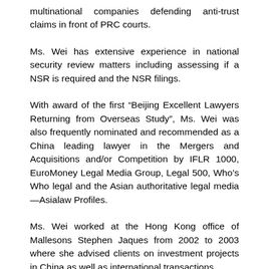multinational companies defending anti-trust claims in front of PRC courts.
Ms. Wei has extensive experience in national security review matters including assessing if a NSR is required and the NSR filings.
With award of the first “Beijing Excellent Lawyers Returning from Overseas Study”, Ms. Wei was also frequently nominated and recommended as a China leading lawyer in the Mergers and Acquisitions and/or Competition by IFLR 1000, EuroMoney Legal Media Group, Legal 500, Who’s Who legal and the Asian authoritative legal media—Asialaw Profiles.
Ms. Wei worked at the Hong Kong office of Mallesons Stephen Jaques from 2002 to 2003 where she advised clients on investment projects in China as well as international transactions.